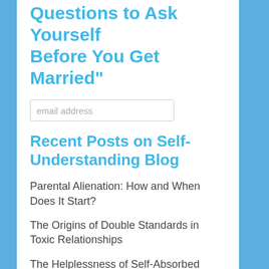Questions to Ask Yourself Before You Get Married"
email address
Recent Posts on Self-Understanding Blog
Parental Alienation: How and When Does It Start?
The Origins of Double Standards in Toxic Relationships
The Helplessness of Self-Absorbed People
Joint Custody: Children Going Back and Forth Between Parents–Sane or Insane?